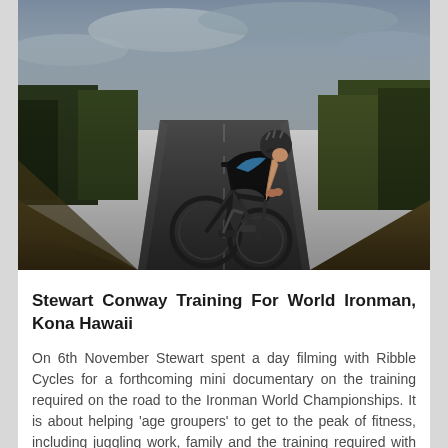[Figure (photo): A cyclist in a black and blue tri-suit and helmet riding a road bike toward the camera on a narrow country road, with trees and fields visible in the background under a cloudy sky. The rider is in an aerodynamic position on the bike.]
Stewart Conway Training For World Ironman, Kona Hawaii
On 6th November Stewart spent a day filming with Ribble Cycles for a forthcoming mini documentary on the training required on the road to the Ironman World Championships. It is about helping 'age groupers' to get to the peak of fitness, including juggling work, family and the training required with regular 4am starts.